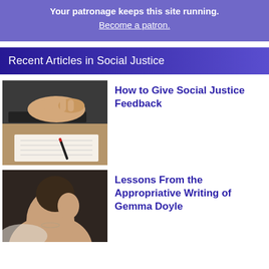Your patronage keeps this site running. Become a patron.
Recent Articles in Social Justice
[Figure (photo): Hands typing on a laptop keyboard and writing in a notebook with a red pen]
How to Give Social Justice Feedback
[Figure (photo): Side profile of a young woman with short hair, looking downward]
Lessons From the Appropriative Writing of Gemma Doyle